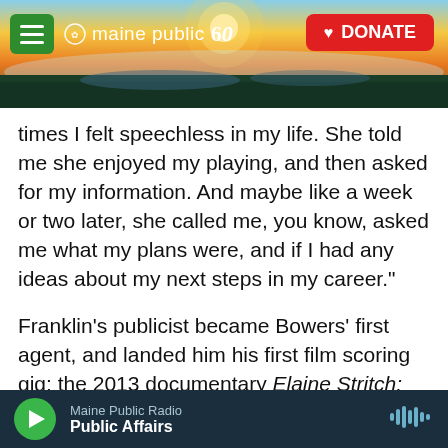[Figure (screenshot): Maine Public 60 website header with navigation bar showing hamburger menu, Maine Public 60 logo, and red DONATE button over a landscape photo with sunrise/sunset]
times I felt speechless in my life. She told me she enjoyed my playing, and then asked for my information. And maybe like a week or two later, she called me, you know, asked me what my plans were, and if I had any ideas about my next steps in my career."
Franklin's publicist became Bowers' first agent, and landed him his first film scoring gig: the 2013 documentary Elaine Stritch: Shoot Me. He had always planned on touring as a jazz pianist for many years after college, maybe start his own band, before transitioning into his dream of being a
Maine Public Radio / Public Affairs